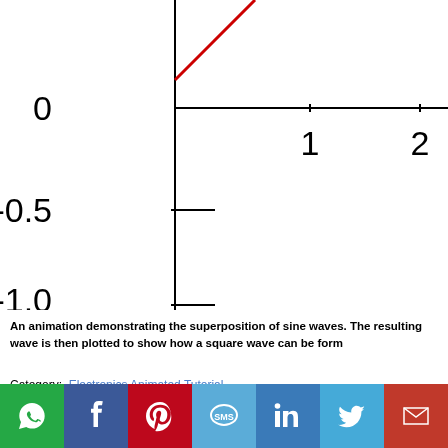[Figure (continuous-plot): Partial view of a sine wave / waveform plot showing y-axis labels 0, -0.5, -1.0 and x-axis labels 1, 2. A red line is visible in the upper-left portion of the chart (positive slope, entering from top). The plot is cropped showing only the top portion.]
An animation demonstrating the superposition of sine waves. The resulting wave is then plotted to show how a square wave can be form...
Category: Electronics Animated Tutorial